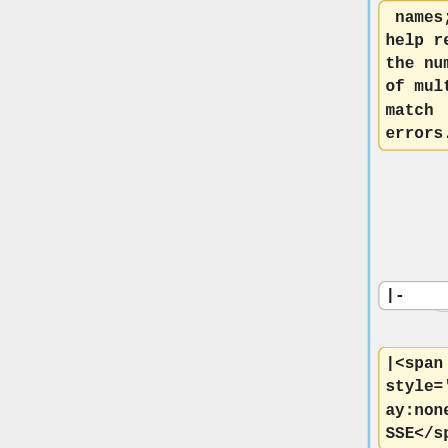names; can help reduce the number of multiple match errors.
|-
|-
|<span style='display:none;'>CASSE</span>N
|<span style='display:none;'>P-USAT</span>F
|No Street Data for Zip
|Firm or Company
|The Zip Code exists but no streets begin with the same letter...